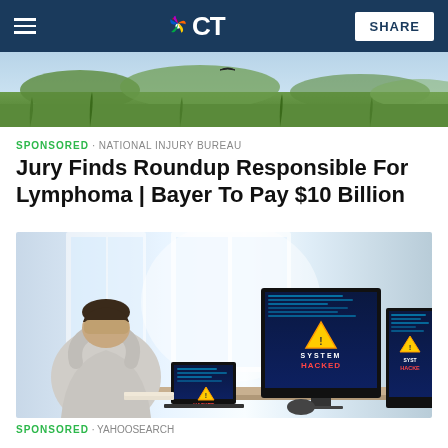NBC CT — SHARE
[Figure (photo): Outdoor nature/landscape photo at top of page, partially cropped]
SPONSORED · NATIONAL INJURY BUREAU
Jury Finds Roundup Responsible For Lymphoma | Bayer To Pay $10 Billion
[Figure (photo): Man sitting at desk with head in hands, surrounded by computer monitors showing 'SYSTEM HACKED' warnings with yellow triangle alert icons]
SPONSORED · YAHOOSEARCH